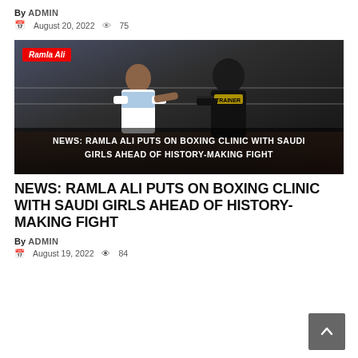By ADMIN
August 20, 2022  75
[Figure (photo): Two women boxing/sparring in a gym ring. One wears a white Nike top, the other wears a black hijab and hoodie. A red tag reads 'Ramla Ali'. Overlay text: NEWS: RAMLA ALI PUTS ON BOXING CLINIC WITH SAUDI GIRLS AHEAD OF HISTORY-MAKING FIGHT]
NEWS: RAMLA ALI PUTS ON BOXING CLINIC WITH SAUDI GIRLS AHEAD OF HISTORY-MAKING FIGHT
By ADMIN
August 19, 2022  84